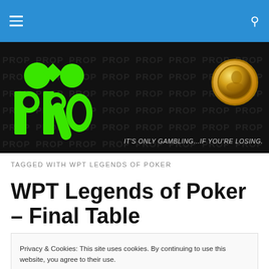Navigation bar with hamburger menu and search icon
[Figure (logo): PROP website logo banner on black background with green PROP text/shapes, gold coin image, and tagline IT'S ONLY GAMBLING...IF YOU'RE LOSING.]
TAGGED WITH WPT LEGENDS OF POKER
WPT Legends of Poker – Final Table
Privacy & Cookies: This site uses cookies. By continuing to use this website, you agree to their use.
To find out more, including how to control cookies, see here: Cookie Policy
Close and accept